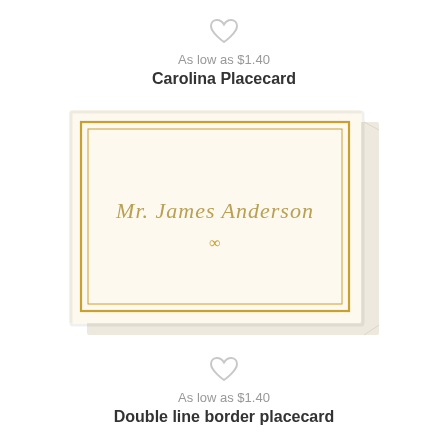[Figure (illustration): Light gray heart outline icon for favoriting/wishlist]
As low as $1.40
Carolina Placecard
[Figure (illustration): Folded place card with cream/ivory background and double gold border, script text reading 'Mr. James Anderson' and a small ornamental flourish below]
[Figure (illustration): Light gray heart outline icon for favoriting/wishlist]
As low as $1.40
Double line border placecard